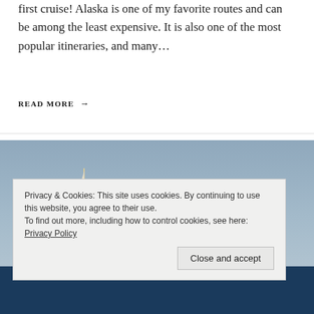first cruise! Alaska is one of my favorite routes and can be among the least expensive. It is also one of the most popular itineraries, and many…
READ MORE →
[Figure (photo): A sailboat with white sail on dark ocean water against a grey-blue sky]
Privacy & Cookies: This site uses cookies. By continuing to use this website, you agree to their use.
To find out more, including how to control cookies, see here: Privacy Policy
Close and accept